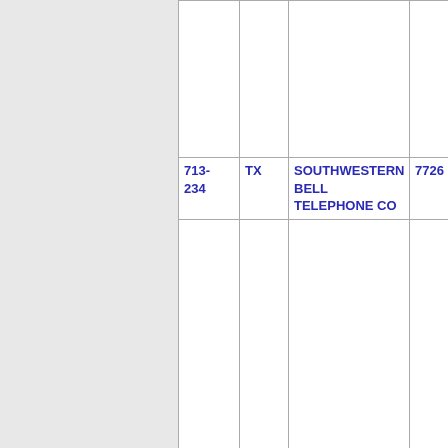| Number | ST | Company Name | Code | ... |
| --- | --- | --- | --- | --- |
| 713-234 | TX | SOUTHWESTERN BELL TELEPHONE CO | 7726 |  |
| Thousands block for 713-234 |  |  |  |  |
| 713-234-0 | TX | LEVEL 3 COMMUNICATIONS, LLC (Center Link... | 6114 |  |